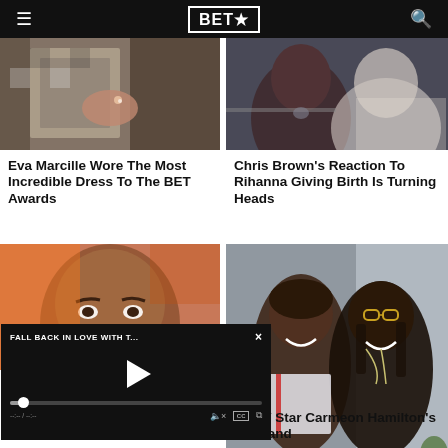BET★
[Figure (photo): Close-up of hands with rings and checkered clothing - Eva Marcille]
Eva Marcille Wore The Most Incredible Dress To The BET Awards
[Figure (photo): Chris Brown and Rihanna together - celebrity photo]
Chris Brown's Reaction To Rihanna Giving Birth Is Turning Heads
[Figure (photo): Close-up of woman's face - Joy]
[Figure (screenshot): Video player overlay: FALL BACK IN LOVE WITH T...]
[Figure (photo): HGTV Star Carmeon Hamilton and her husband smiling together]
Admits To The Love
HGTV Star Carmeon Hamilton's Husband